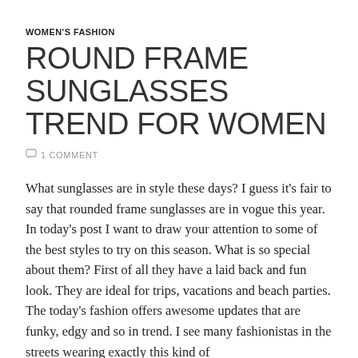WOMEN'S FASHION
ROUND FRAME SUNGLASSES TREND FOR WOMEN
1 COMMENT
What sunglasses are in style these days? I guess it's fair to say that rounded frame sunglasses are in vogue this year. In today's post I want to draw your attention to some of the best styles to try on this season. What is so special about them? First of all they have a laid back and fun look. They are ideal for trips, vacations and beach parties. The today's fashion offers awesome updates that are funky, edgy and so in trend. I see many fashionistas in the streets wearing exactly this kind of